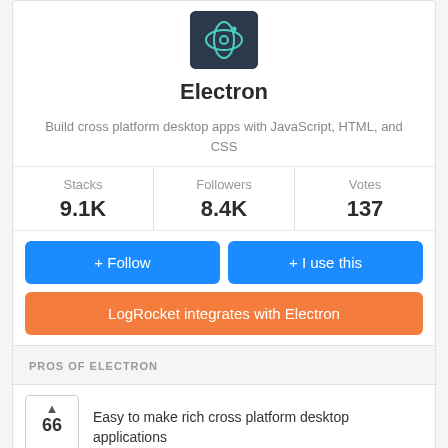[Figure (logo): Electron logo on dark background]
Electron
Build cross platform desktop apps with JavaScript, HTML, and CSS
| Stacks | Followers | Votes |
| --- | --- | --- |
| 9.1K | 8.4K | 137 |
+ Follow
+ I use this
LogRocket integrates with Electron
PROS OF ELECTRON
Easy to make rich cross platform desktop applications